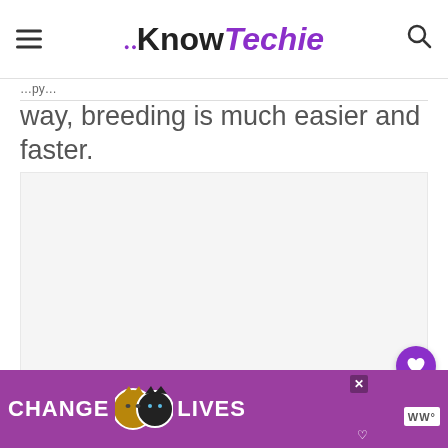KnowTechie
way, breeding is much easier and faster.
[Figure (photo): Empty light gray content image placeholder area]
[Figure (infographic): Advertisement banner with purple background showing cats and text 'CHANGE LIVES']